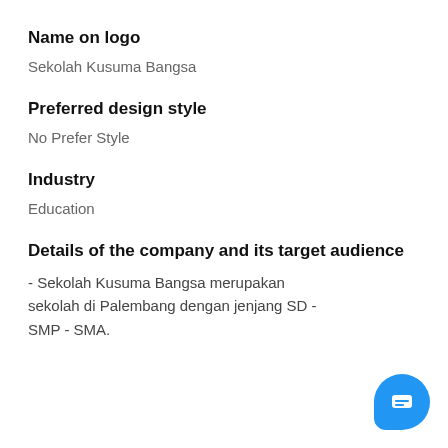Name on logo
Sekolah Kusuma Bangsa
Preferred design style
No Prefer Style
Industry
Education
Details of the company and its target audience
- Sekolah Kusuma Bangsa merupakan sekolah di Palembang dengan jenjang SD - SMP - SMA.